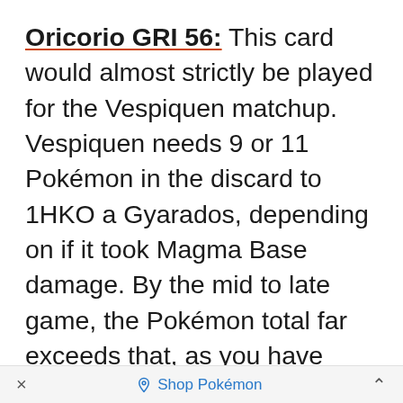Oricorio GRI 56: This card would almost strictly be played for the Vespiquen matchup. Vespiquen needs 9 or 11 Pokémon in the discard to 1HKO a Gyarados, depending on if it took Magma Base damage. By the mid to late game, the Pokémon total far exceeds that, as you have been trading Gyarados and Vespiquens for a few turns. Oricorio can come in and take down a Vespiquen and a Combee
× ♦ Shop Pokémon ^